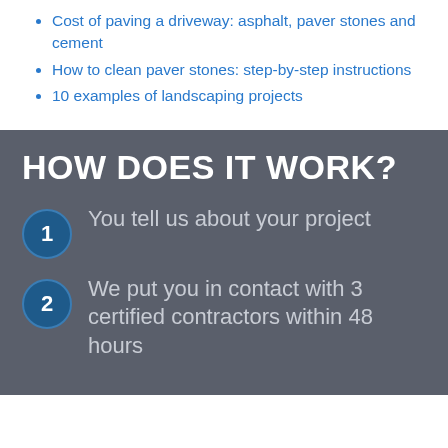Cost of paving a driveway: asphalt, paver stones and cement
How to clean paver stones: step-by-step instructions
10 examples of landscaping projects
HOW DOES IT WORK?
1 You tell us about your project
2 We put you in contact with 3 certified contractors within 48 hours